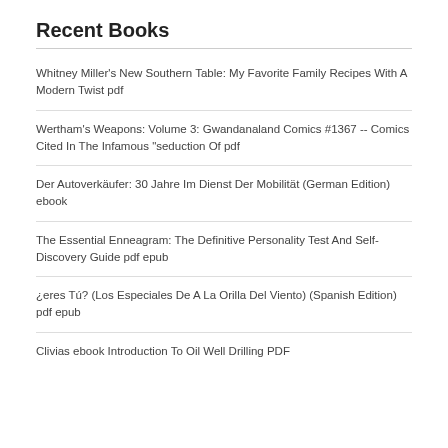Recent Books
Whitney Miller's New Southern Table: My Favorite Family Recipes With A Modern Twist pdf
Wertham's Weapons: Volume 3: Gwandanaland Comics #1367 -- Comics Cited In The Infamous "seduction Of pdf
Der Autoverkäufer: 30 Jahre Im Dienst Der Mobilität (German Edition) ebook
The Essential Enneagram: The Definitive Personality Test And Self-Discovery Guide pdf epub
¿eres Tú? (Los Especiales De A La Orilla Del Viento) (Spanish Edition) pdf epub
Clivias ebook Introduction To Oil Well Drilling PDF